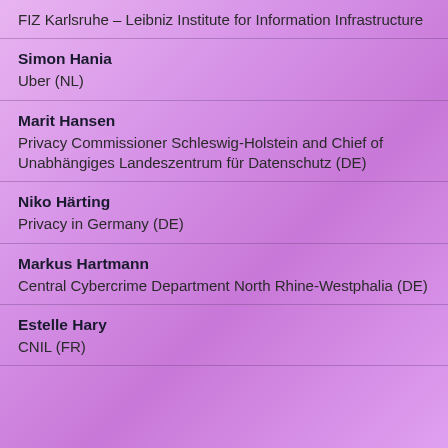FIZ Karlsruhe – Leibniz Institute for Information Infrastructure
Simon Hania
Uber (NL)
Marit Hansen
Privacy Commissioner Schleswig-Holstein and Chief of Unabhängiges Landeszentrum für Datenschutz (DE)
Niko Härting
Privacy in Germany (DE)
Markus Hartmann
Central Cybercrime Department North Rhine-Westphalia (DE)
Estelle Hary
CNIL (FR)